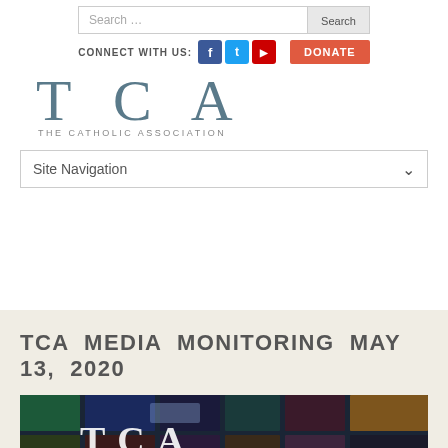[Figure (screenshot): Search bar with text 'Search ...' and a 'Search' button]
[Figure (infographic): Connect with us social icons (Facebook, Twitter, YouTube) and DONATE button]
[Figure (logo): TCA - The Catholic Association logo in gray serif font]
[Figure (screenshot): Site Navigation dropdown selector]
TCA MEDIA MONITORING MAY 13, 2020
[Figure (photo): TCA media monitoring article header image showing collage of video/media screens with TCA letters overlaid in white]